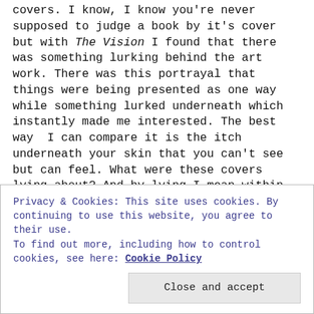covers. I know, I know you're never supposed to judge a book by it's cover but with The Vision I found that there was something lurking behind the art work. There was this portrayal that things were being presented as one way while something lurked underneath which instantly made me interested. The best way I can compare it is the itch underneath your skin that you can't see but can feel. What were these covers lying about? And by lying I mean within the context of the stories, I'm not suggesting the covers were lying about the contents of the story. The lie was apart of it. I dug that. As I started reading the series the art continued to add layers and context to the story. The pages were
Privacy & Cookies: This site uses cookies. By continuing to use this website, you agree to their use.
To find out more, including how to control cookies, see here: Cookie Policy
Close and accept